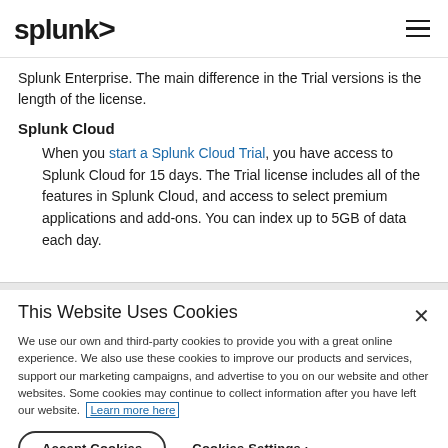splunk>
Splunk Enterprise. The main difference in the Trial versions is the length of the license.
Splunk Cloud
When you start a Splunk Cloud Trial, you have access to Splunk Cloud for 15 days. The Trial license includes all of the features in Splunk Cloud, and access to select premium applications and add-ons. You can index up to 5GB of data each day.
This Website Uses Cookies
We use our own and third-party cookies to provide you with a great online experience. We also use these cookies to improve our products and services, support our marketing campaigns, and advertise to you on our website and other websites. Some cookies may continue to collect information after you have left our website. Learn more here
Accept Cookies   Cookies Settings ›